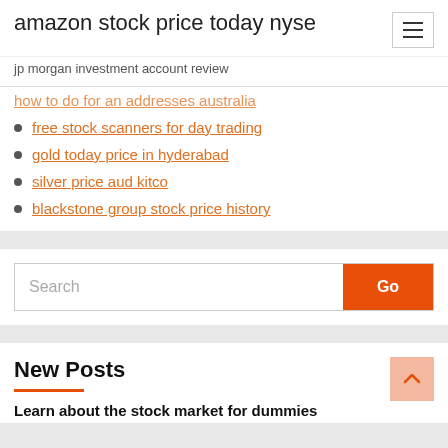amazon stock price today nyse
jp morgan investment account review
free stock scanners for day trading
gold today price in hyderabad
silver price aud kitco
blackstone group stock price history
New Posts
Learn about the stock market for dummies